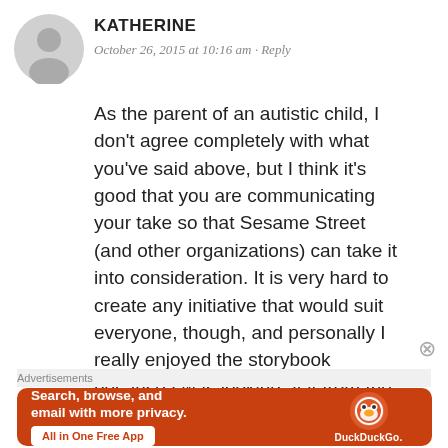[Figure (illustration): Grey circular avatar placeholder icon with a silhouette of a person]
KATHERINE
October 26, 2015 at 10:16 am · Reply
As the parent of an autistic child, I don't agree completely with what you've said above, but I think it's good that you are communicating your take so that Sesame Street (and other organizations) can take it into consideration. It is very hard to create any initiative that would suit everyone, though, and personally I really enjoyed the storybook because I was looking at it from the perspective of what my daughter's
Advertisements
[Figure (screenshot): DuckDuckGo advertisement banner on orange background: 'Search, browse, and email with more privacy. All in One Free App' with DuckDuckGo logo and duck icon on a smartphone mockup]